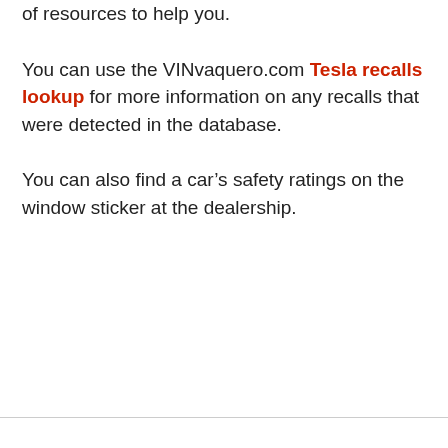of resources to help you.
You can use the VINvaquero.com Tesla recalls lookup for more information on any recalls that were detected in the database.
You can also find a car's safety ratings on the window sticker at the dealership.